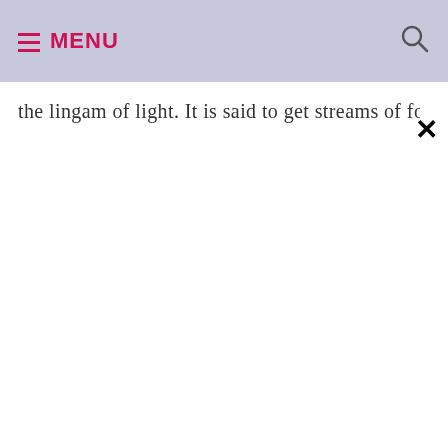≡ MENU
the lingam of light. It is said to get streams of fo